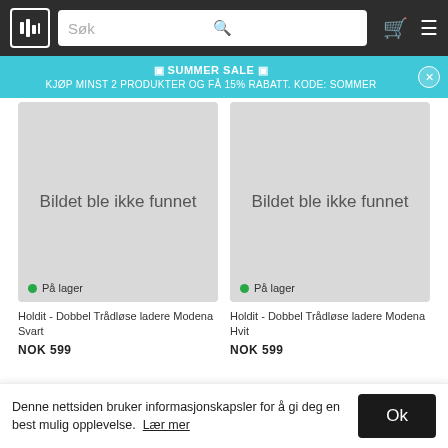[Figure (screenshot): Navigation bar with logo, search bar, cart icon, and menu icon on dark background]
✉ SUMMER SALE ✉
KJØP MINST 2 PRODUKTER OG FÅ 15% RABATT. KODE: SOMMER
[Figure (photo): Product image placeholder reading 'Bildet ble ikke funnet' with 'På lager' stock label]
[Figure (photo): Product image placeholder reading 'Bildet ble ikke funnet' with 'På lager' stock label]
Holdit - Dobbel Trådløse ladere Modena Svart
NOK 599
Holdit - Dobbel Trådløse ladere Modena Hvit
NOK 599
Denne nettsiden bruker informasjonskapsler for å gi deg en best mulig opplevelse. Lær mer